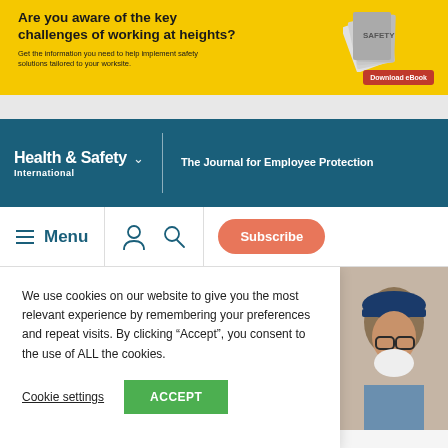[Figure (infographic): Yellow banner advertisement asking 'Are you aware of the key challenges of working at heights?' with subtitle text about safety solutions, decorative book/pamphlet image, and a red 'Download eBook' button.]
[Figure (logo): Health & Safety International logo with dropdown arrow and tagline 'The Journal for Employee Protection' on a dark teal navigation bar.]
[Figure (screenshot): Navigation menu bar with hamburger icon, 'Menu' label, user icon, search icon, and salmon-colored 'Subscribe' button.]
We use cookies on our website to give you the most relevant experience by remembering your preferences and repeat visits. By clicking “Accept”, you consent to the use of ALL the cookies.
Cookie settings
ACCEPT
[Figure (photo): Partial photo of a person wearing safety glasses and a blue hard hat.]